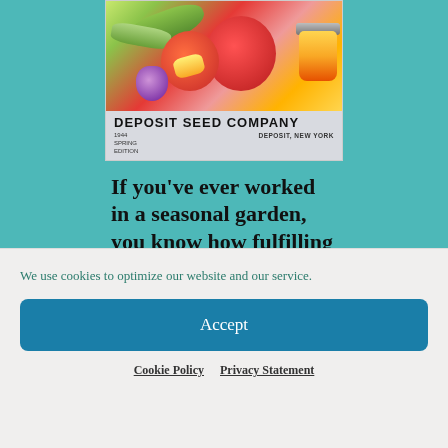[Figure (illustration): Seed catalog cover for Deposit Seed Company, 1944 Spring Edition, Deposit, New York. Cover shows vegetables including tomatoes, cucumbers, and a canning jar on top, with a grey banner below showing company name and location.]
If you've ever worked in a seasonal garden, you know how fulfilling it is to harvest and eat the
We use cookies to optimize our website and our service.
Accept
Cookie Policy   Privacy Statement